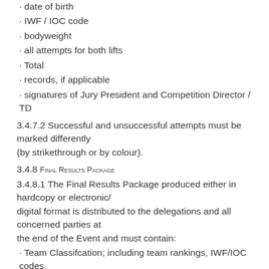• date of birth
• IWF / IOC code
• bodyweight
• all attempts for both lifts
• Total
• records, if applicable
• signatures of Jury President and Competition Director / TD
3.4.7.2 Successful and unsuccessful attempts must be marked differently (by strikethrough or by colour).
3.4.8 Final Results Package
3.4.8.1 The Final Results Package produced either in hardcopy or electronic/ digital format is distributed to the delegations and all concerned parties at the end of the Event and must contain:
• Team Classifcation; including team rankings, IWF/IOC codes,
• [continues below]